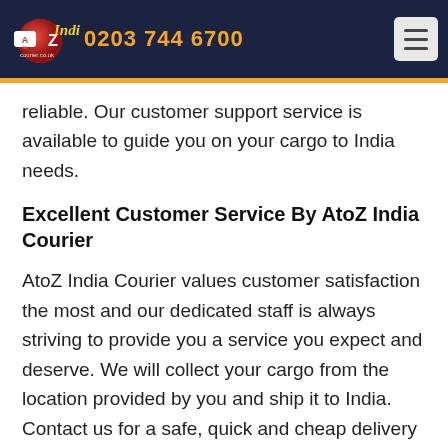AtoZ India Courier — 0203 744 6700
reliable. Our customer support service is available to guide you on your cargo to India needs.
Excellent Customer Service By AtoZ India Courier
AtoZ India Courier values customer satisfaction the most and our dedicated staff is always striving to provide you a service you expect and deserve. We will collect your cargo from the location provided by you and ship it to India. Contact us for a safe, quick and cheap delivery of your cargo.
Online Tracking
AtoZ India Courier believes in keeping their customers informed at all times about their cargo, therefor we offer an online tracking service. After sending your shipment, you can track it any time you want through our website.